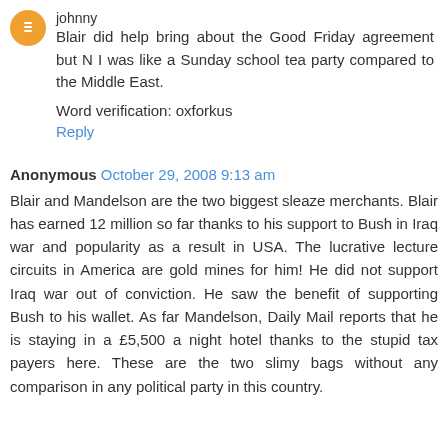johnny
Blair did help bring about the Good Friday agreement but N I was like a Sunday school tea party compared to the Middle East.
Word verification: oxforkus
Reply
Anonymous October 29, 2008 9:13 am
Blair and Mandelson are the two biggest sleaze merchants. Blair has earned 12 million so far thanks to his support to Bush in Iraq war and popularity as a result in USA. The lucrative lecture circuits in America are gold mines for him! He did not support Iraq war out of conviction. He saw the benefit of supporting Bush to his wallet. As far Mandelson, Daily Mail reports that he is staying in a £5,500 a night hotel thanks to the stupid tax payers here. These are the two slimy bags without any comparison in any political party in this country.